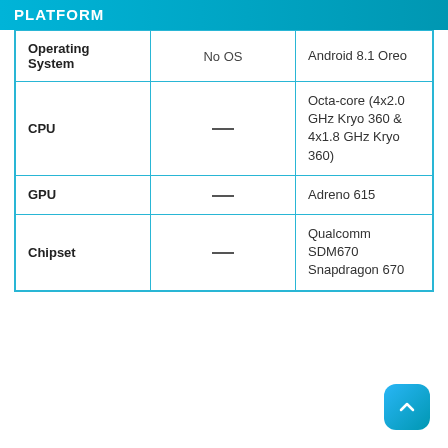PLATFORM
|  |  |  |
| --- | --- | --- |
| Operating System | No OS | Android 8.1 Oreo |
| CPU | — | Octa-core (4x2.0 GHz Kryo 360 & 4x1.8 GHz Kryo 360) |
| GPU | — | Adreno 615 |
| Chipset | — | Qualcomm SDM670 Snapdragon 670 |